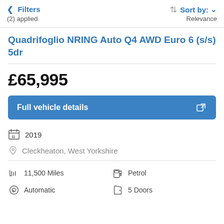< Filters (2) applied | Sort by: Relevance
Quadrifoglio NRING Auto Q4 AWD Euro 6 (s/s) 5dr
£65,995
Full vehicle details
2019
Cleckheaton, West Yorkshire
11,500 Miles
Petrol
Automatic
5 Doors